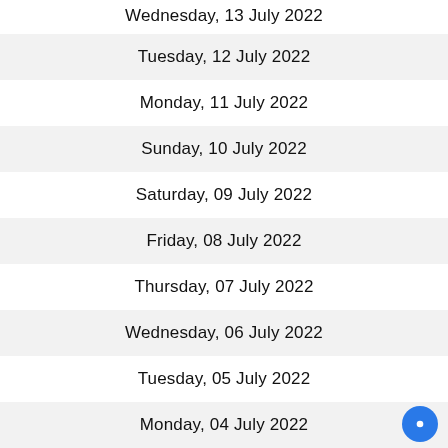Wednesday, 13 July 2022
Tuesday, 12 July 2022
Monday, 11 July 2022
Sunday, 10 July 2022
Saturday, 09 July 2022
Friday, 08 July 2022
Thursday, 07 July 2022
Wednesday, 06 July 2022
Tuesday, 05 July 2022
Monday, 04 July 2022